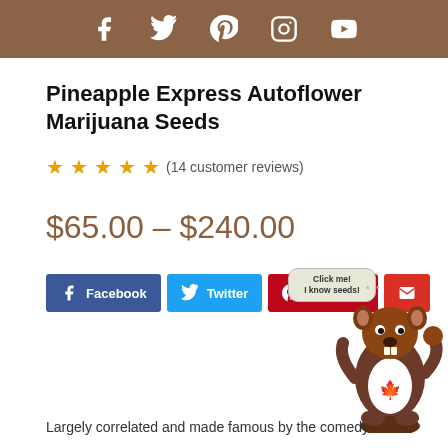Social media icons: Facebook, Twitter, Pinterest, Instagram, YouTube
Pineapple Express Autoflower Marijuana Seeds
★★★★★ (14 customer reviews)
$65.00 – $240.00
[Figure (illustration): Cartoon beaver mascot with speech bubble saying 'Click me! I know seeds!']
Facebook  Twitter  Pinterest
Largely correlated and made famous by the comedy